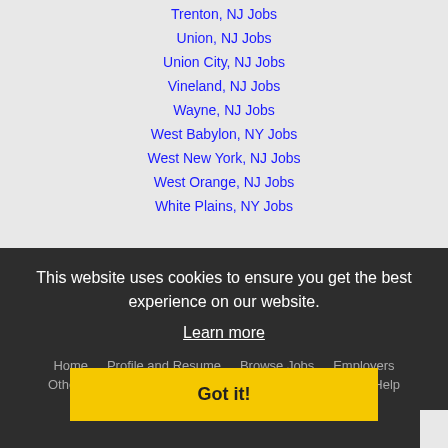Trenton, NJ Jobs
Union, NJ Jobs
Union City, NJ Jobs
Vineland, NJ Jobs
Wayne, NJ Jobs
West Babylon, NY Jobs
West New York, NJ Jobs
West Orange, NJ Jobs
White Plains, NY Jobs
Wilmington, DE Jobs
Yonkers, NY Jobs
This website uses cookies to ensure you get the best experience on our website.
Learn more
Home   Profile and Resume   Browse Jobs   Employers   Other Cities   Clients List   About Us   Contact Us   Help   Terms of Use   Register / Log In
Got it!
Copyright © 2001 - 2022 Recruiter Media Corporation -